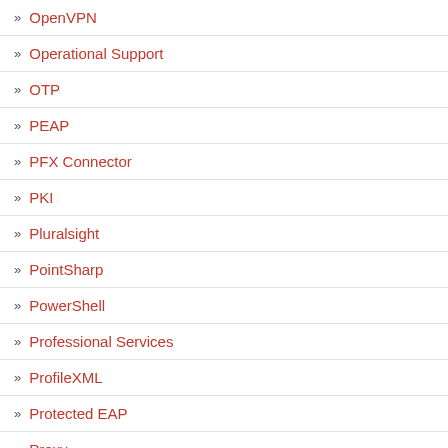» OpenVPN
» Operational Support
» OTP
» PEAP
» PFX Connector
» PKI
» Pluralsight
» PointSharp
» PowerShell
» Professional Services
» ProfileXML
» Protected EAP
» Proxy
Having an issue when network policy policy group the user conne... all the groups I have NPS is on Server 201...
Robbie
Loading...
Richard M. Hicks
Did you specify ju... because if you hav... there are two way... other AND. Also, v... the event log on t... reason for denyin...